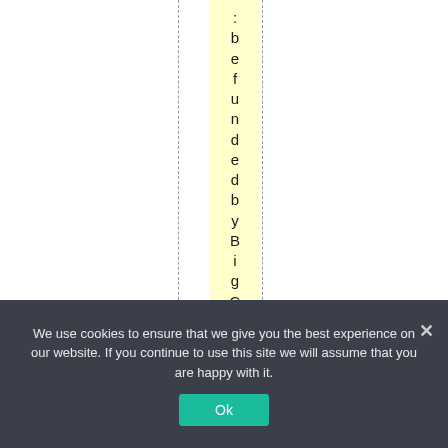:befundedbyBigCoal
We use cookies to ensure that we give you the best experience on our website. If you continue to use this site we will assume that you are happy with it.